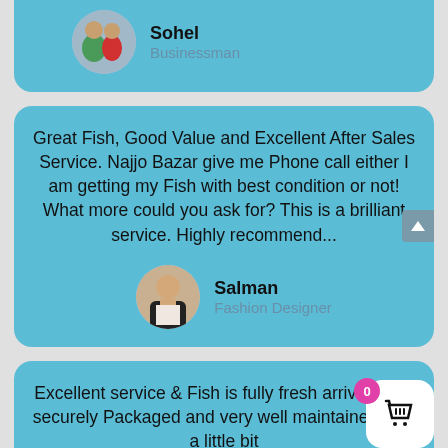Sohel
Businessman
Great Fish, Good Value and Excellent After Sales Service. Najjo Bazar give me Phone call either I am getting my Fish with best condition or not! What more could you ask for? This is a brilliant service. Highly recommend...
Salman
Fashion Designer
Excellent service & Fish is fully fresh arrived very securely Packaged and very well maintained! It is a little bit